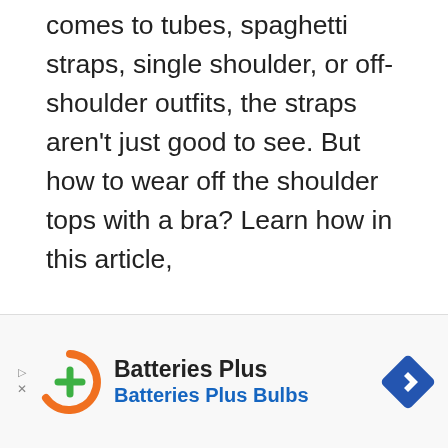comes to tubes, spaghetti straps, single shoulder, or off-shoulder outfits, the straps aren't just good to see. But how to wear off the shoulder tops with a bra? Learn how in this article,
Why Wear Off Shoulders
When it comes to fashion, women are experts in mix and matches. Nowadays, trendy tops that many women wear are off-shoulder tops
[Figure (infographic): Batteries Plus advertisement banner with orange logo, company name in bold, and blue tagline 'Batteries Plus Bulbs', with a blue diamond navigation icon on the right.]